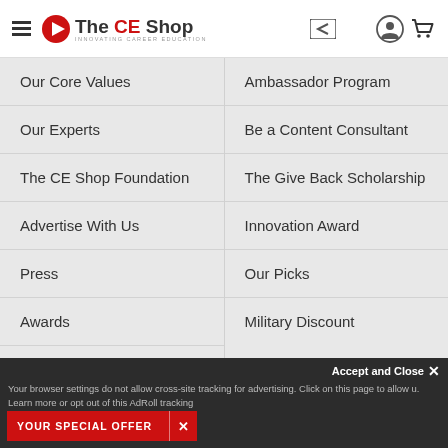The CE Shop — Navigation menu header
Our Core Values
Ambassador Program
Our Experts
Be a Content Consultant
The CE Shop Foundation
The Give Back Scholarship
Advertise With Us
Innovation Award
Press
Our Picks
Awards
Military Discount
Careers
Social Media
Accept and Close ✕
Your browser settings do not allow cross-site tracking for advertising. Click on this page to allow u. Learn more or opt out of this AdRoll tracking
YOUR SPECIAL OFFER  ✕